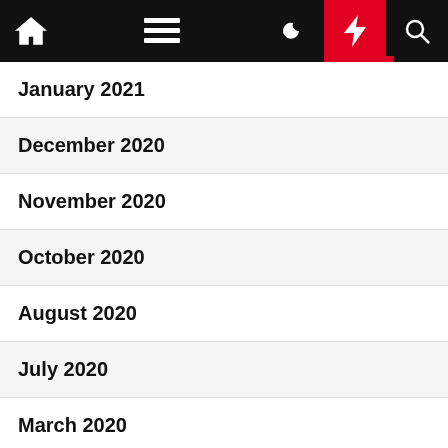Navigation bar with home, menu, dark mode, lightning/breaking news, and search icons
January 2021
December 2020
November 2020
October 2020
August 2020
July 2020
March 2020
November 2018
October 2018